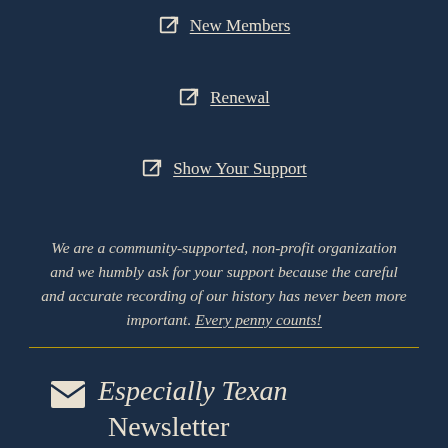New Members
Renewal
Show Your Support
We are a community-supported, non-profit organization and we humbly ask for your support because the careful and accurate recording of our history has never been more important. Every penny counts!
Especially Texan Newsletter